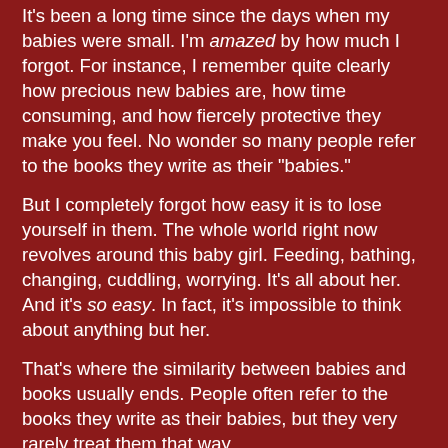It's been a long time since the days when my babies were small. I'm amazed by how much I forgot. For instance, I remember quite clearly how precious new babies are, how time consuming, and how fiercely protective they make you feel. No wonder so many people refer to the books they write as their "babies."
But I completely forgot how easy it is to lose yourself in them. The whole world right now revolves around this baby girl. Feeding, bathing, changing, cuddling, worrying. It's all about her. And it's so easy. In fact, it's impossible to think about anything but her.
That's where the similarity between babies and books usually ends. People often refer to the books they write as their babies, but they very rarely treat them that way.
So yeah. Back to that agent. Did I mention I got an agent? I did! So now I have two people devoted to selling my work. And one of them actually knows what she's doing.
The only thing I know how to do is write my books. And that's what I was doing, until this amazing grandbaby arrived. But